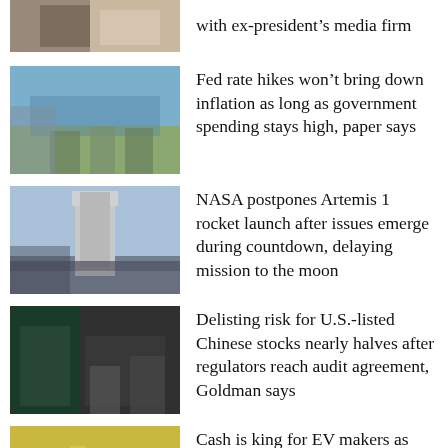[Figure (photo): Partial photo at top, person with papers, partially cropped]
with ex-president's media firm
[Figure (photo): Group of people standing outdoors with mountains in background]
Fed rate hikes won't bring down inflation as long as government spending stays high, paper says
[Figure (photo): NASA rocket on launch pad against blue sky]
NASA postpones Artemis 1 rocket launch after issues emerge during countdown, delaying mission to the moon
[Figure (photo): People in masks in front of a building with Chinese characters]
Delisting risk for U.S.-listed Chinese stocks nearly halves after regulators reach audit agreement, Goldman says
[Figure (photo): Factory floor with EV battery or vehicle production equipment, workers visible]
Cash is king for EV makers as soaring battery prices drive up vehicle production costs
[Figure (photo): Two young people looking at a laptop or document, partially cropped at bottom]
Scammers are using student loan forgiveness as bait, FTC warns. Here are